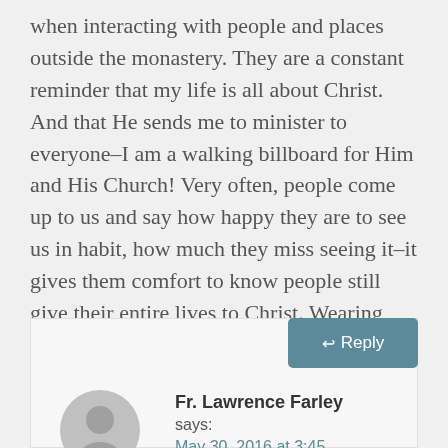when interacting with people and places outside the monastery. They are a constant reminder that my life is all about Christ. And that He sends me to minister to everyone–I am a walking billboard for Him and His Church! Very often, people come up to us and say how happy they are to see us in habit, how much they miss seeing it–it gives them comfort to know people still give their entire lives to Christ. Wearing habits or cassocks indeed makes a huge difference, let us not give them up!
Reply
[Figure (illustration): Gray circular avatar/user icon placeholder]
Fr. Lawrence Farley says: May 30, 2016 at 3:45